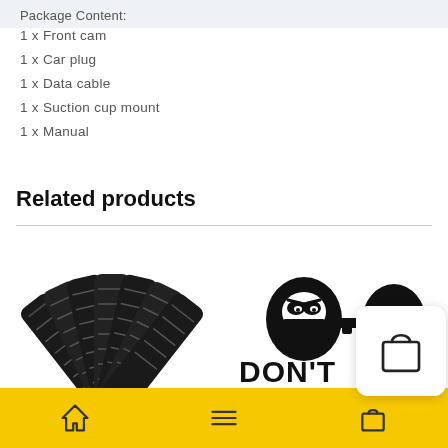Package Content:
1 x Front cam
1 x Car plug
1 x Data cable
1 x Suction cup mount
1 x Manual
Related products
[Figure (photo): Black recovery traction boards/tracks fanned out]
[Figure (illustration): DON'T TOUCH MY CAR sticker graphic with cartoon characters holding a gun]
[Figure (illustration): Shopping bag icon popup]
Bottom navigation bar with home, menu, and bag icons